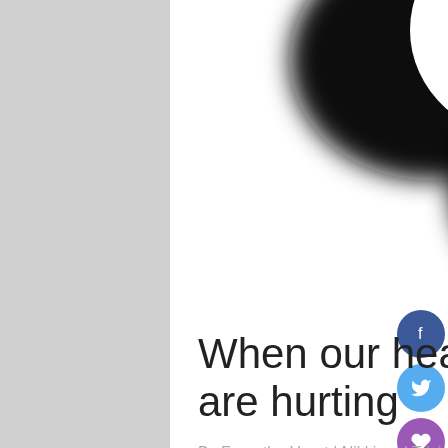[Figure (illustration): Black and white blurred circular/heart-shaped logo or icon on white background — bottom portion visible, white inside black outline resembling a bird or heart shape]
When our hearts are hurting
By From the Heart | Nikki and Tricia Walz | A Tale of Two Sisters
Have you ever noticed that the news always begins with "Good afternoon" and then proceeds to tell you why it isn't? We used